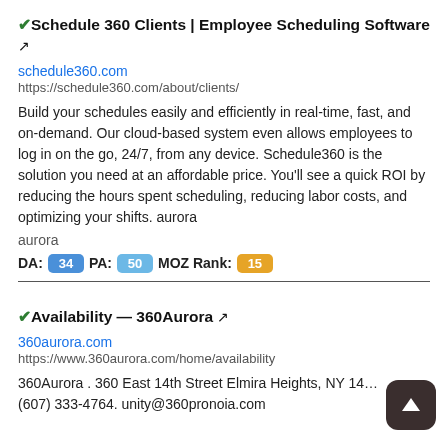✔ Schedule 360 Clients | Employee Scheduling Software ↗
schedule360.com
https://schedule360.com/about/clients/
Build your schedules easily and efficiently in real-time, fast, and on-demand. Our cloud-based system even allows employees to log in on the go, 24/7, from any device. Schedule360 is the solution you need at an affordable price. You'll see a quick ROI by reducing the hours spent scheduling, reducing labor costs, and optimizing your shifts. aurora
aurora
DA: 34  PA: 50  MOZ Rank: 15
✔ Availability — 360Aurora ↗
360aurora.com
https://www.360aurora.com/home/availability
360Aurora . 360 East 14th Street Elmira Heights, NY 14… (607) 333-4764. unity@360pronoia.com